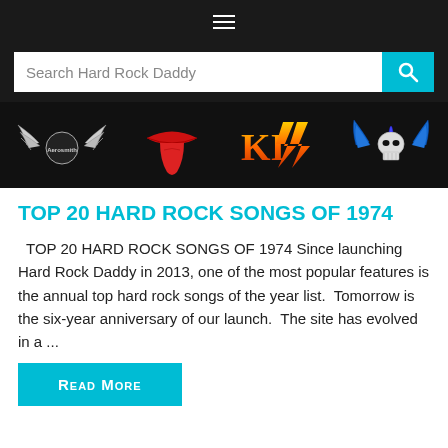≡ (hamburger menu)
[Figure (screenshot): Search bar with 'Search Hard Rock Daddy' placeholder and cyan search button]
[Figure (illustration): Band logos banner: Aerosmith, Rolling Stones tongue, KISS logo, skull with blue wings — all on black background]
TOP 20 HARD ROCK SONGS OF 1974
TOP 20 HARD ROCK SONGS OF 1974 Since launching Hard Rock Daddy in 2013, one of the most popular features is the annual top hard rock songs of the year list.  Tomorrow is the six-year anniversary of our launch.  The site has evolved in a ...
Read More